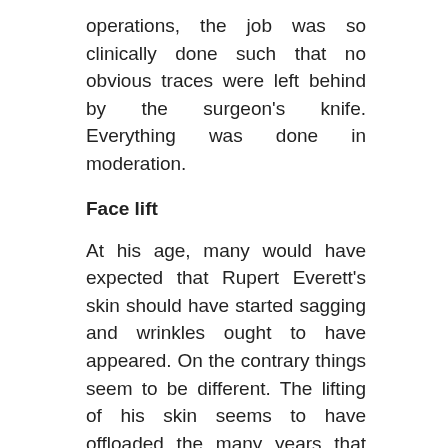operations, the job was so clinically done such that no obvious traces were left behind by the surgeon's knife. Everything was done in moderation.
Face lift
At his age, many would have expected that Rupert Everett's skin should have started sagging and wrinkles ought to have appeared. On the contrary things seem to be different. The lifting of his skin seems to have offloaded the many years that the celebrity has had in showbiz. His face looks smoother than his age mates a fact that puts it in black and white that the celebrity must have undergone some corrective cosmetic operations.
Cheek Implants
It is very rare to see a celebrity having gone through a face lift without working on his cheeks. Many of them including Rupert go through cheek implants. In the case of